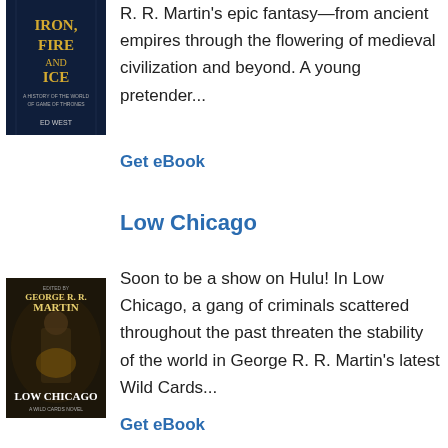[Figure (illustration): Book cover: Iron, Fire and Ice by Ed West — dark blue background with stylized title text in gold and subtitle text]
R. R. Martin's epic fantasy—from ancient empires through the flowering of medieval civilization and beyond. A young pretender...
Get eBook
Low Chicago
[Figure (illustration): Book cover: Low Chicago by George R. R. Martin — dark moody cover with a figure in a coat, gold author name, white title]
Soon to be a show on Hulu! In Low Chicago, a gang of criminals scattered throughout the past threaten the stability of the world in George R. R. Martin's latest Wild Cards...
Get eBook